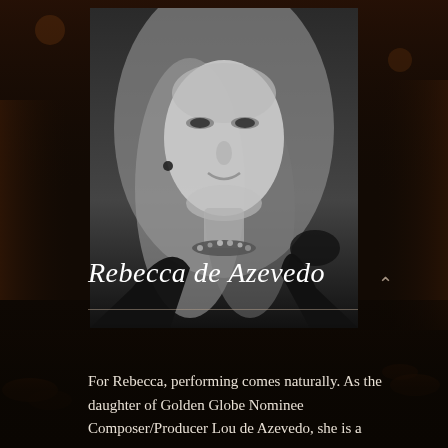[Figure (photo): Black and white professional headshot portrait of Rebecca de Azevedo, a woman with long blonde hair, wearing a black top and a sparkling necklace, smiling softly at the camera. The photo is set against a blurred dark restaurant interior background.]
Rebecca de Azevedo
For Rebecca, performing comes naturally. As the daughter of Golden Globe Nominee Composer/Producer Lou de Azevedo, she is a